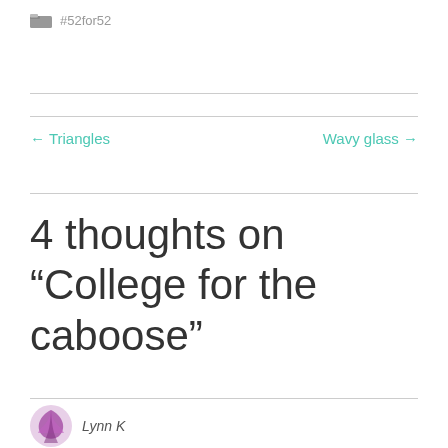#52for52
← Triangles    Wavy glass →
4 thoughts on “College for the caboose”
Lynn K